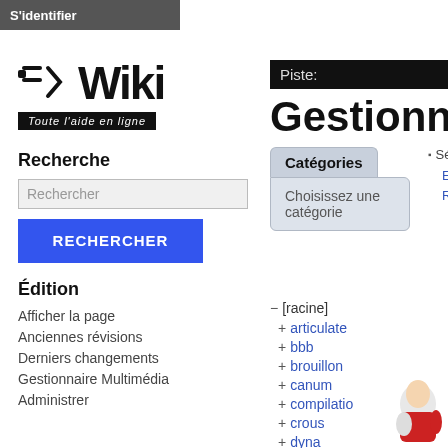S'identifier
[Figure (logo): DokuWiki logo with text 'Wiki' and subtitle 'Toute l'aide en ligne']
Recherche
Rechercher
RECHERCHER
Édition
Afficher la page
Anciennes révisions
Derniers changements
Gestionnaire Multimédia
Administrer
Piste:
Gestionnai
Catégories
Choisissez une catégorie
Sélection de
Envoyer
Rechercher
Fichiers
− [racine]
+ articulate
+ bbb
+ brouillon
+ canum
+ compilatio
+ crous
+ dyna